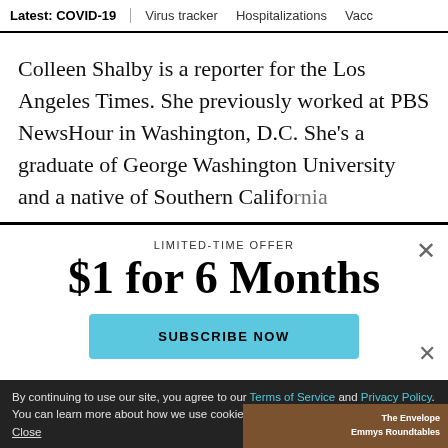Latest: COVID-19 | Virus tracker | Hospitalizations | Vacc
Colleen Shalby is a reporter for the Los Angeles Times. She previously worked at PBS NewsHour in Washington, D.C. She's a graduate of George Washington University and a native of Southern California.
LIMITED-TIME OFFER
$1 for 6 Months
SUBSCRIBE NOW
By continuing to use our site, you agree to our Terms of Service and Privacy Policy. You can learn more about how we use cookies by reviewing our Privacy Policy. Close
The Envelope Emmys Roundtables